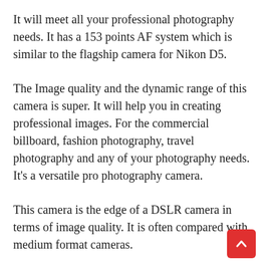It will meet all your professional photography needs. It has a 153 points AF system which is similar to the flagship camera for Nikon D5.
The Image quality and the dynamic range of this camera is super. It will help you in creating professional images. For the commercial billboard, fashion photography, travel photography and any of your photography needs. It’s a versatile pro photography camera.
This camera is the edge of a DSLR camera in terms of image quality. It is often compared with medium format cameras.